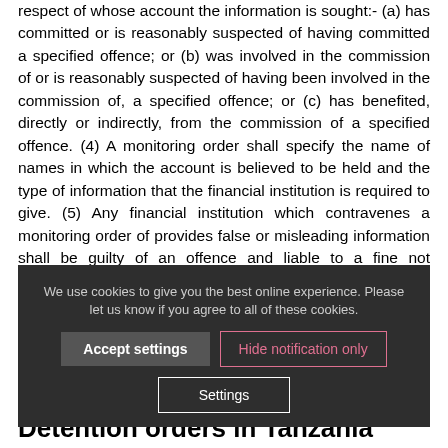respect of whose account the information is sought:- (a) has committed or is reasonably suspected of having committed a specified offence; or (b) was involved in the commission of or is reasonably suspected of having been involved in the commission of, a specified offence; or (c) has benefited, directly or indirectly, from the commission of a specified offence. (4) A monitoring order shall specify the name of names in which the account is believed to be held and the type of information that the financial institution is required to give. (5) Any financial institution which contravenes a monitoring order of provides false or misleading information shall be guilty of an offence and liable to a fine not exceeding one million shillings.
You can see MORE... Court for such a m... you with it before you can start providing continuous information. Your lawyers can guide you too.
[Figure (other): Cookie consent overlay with dark background. Text: 'We use cookies to give you the best online experience. Please let us know if you agree to all of these cookies.' Three buttons: 'Accept settings', 'Hide notification only', 'Settings'.]
Detention orders in Tanzania